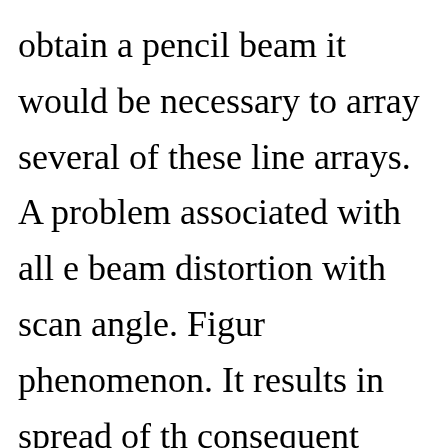obtain a pencil beam it would be necessary to array several of these line arrays. A problem associated with all e beam distortion with scan angle. Figur phenomenon. It results in spread of th consequent reduction in gain known a ideal array element, scan loss is equal reduction (projected) in the scan direc θ.